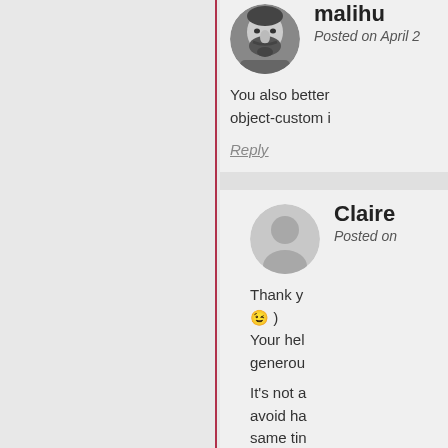[Figure (photo): User avatar photo of malihu - black and white portrait of a bearded man]
malihu
Posted on April 2
You also better object-custom i
Reply
[Figure (illustration): Default user avatar icon - gray circle with person silhouette]
Claire
Posted on
Thank y
😉 )
Your hel
generou
It's not a avoid ha same tin